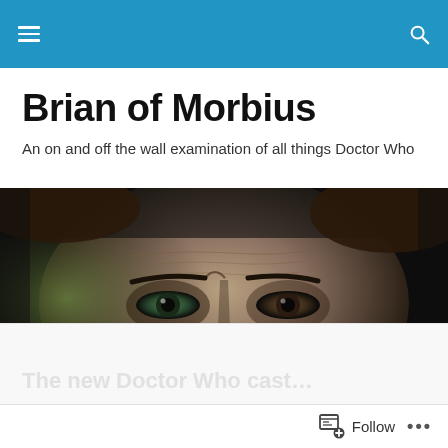Brian of Morbius — navigation bar with hamburger menu and search icon
Brian of Morbius
An on and off the wall examination of all things Doctor Who
[Figure (photo): Close-up photo of a man's face, eyes glaring intensely at the camera, with dramatic lighting casting a greenish hue on the left side of the face. The image fills the full width of the page.]
TAGGED WITH MANDIP GILL
Follow •••